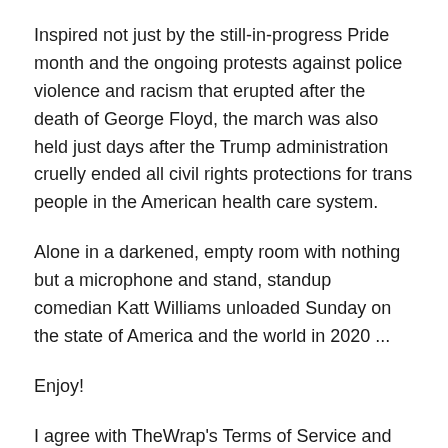Inspired not just by the still-in-progress Pride month and the ongoing protests against police violence and racism that erupted after the death of George Floyd, the march was also held just days after the Trump administration cruelly ended all civil rights protections for trans people in the American health care system.
Alone in a darkened, empty room with nothing but a microphone and stand, standup comedian Katt Williams unloaded Sunday on the state of America and the world in 2020 ...
Enjoy!
I agree with TheWrap's Terms of Service and Privacy Policy and provide my consent to receive marketing communications from them. I've already done more than an elected official.". Williams then urged everyone to wear a face mask during the pandemic and touched on the death of George Floyd, calling the police